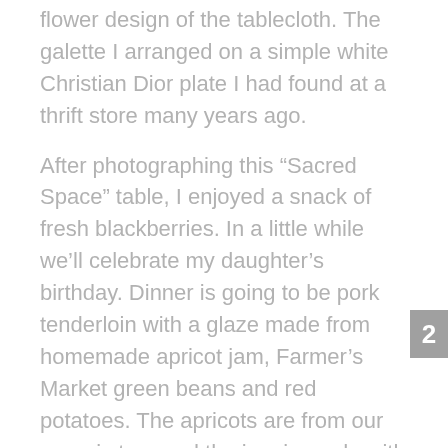flower design of the tablecloth. The galette I arranged on a simple white Christian Dior plate I had found at a thrift store many years ago.
After photographing this “Sacred Space” table, I enjoyed a snack of fresh blackberries. In a little while we’ll celebrate my daughter’s birthday. Dinner is going to be pork tenderloin with a glaze made from homemade apricot jam, Farmer’s Market green beans and red potatoes. The apricots are from our organic tree and the jam is made with little sugar. The grand finale will be dessert – the pear-blackberry galette with vanilla gelato. YUM!
I love finding as many ways as possible for celebrating life while creating Sacred Spaces!